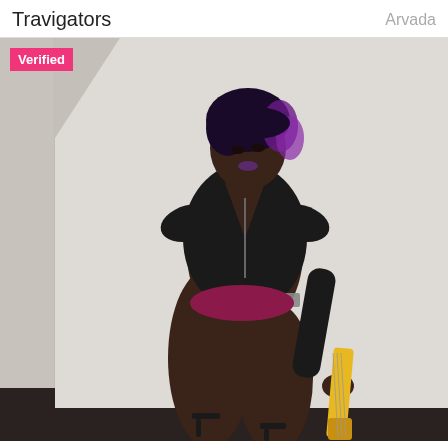Travigators    Arvada
[Figure (photo): A person posing against a white wall corner wearing a black leather jacket, a studded belt, and holding a yellow guitar neck. They have purple-streaked dark hair and are wearing high heels.]
Verified